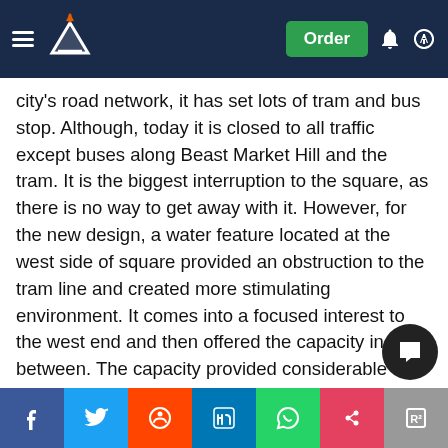Order
city's road network, it has set lots of tram and bus stop. Although, today it is closed to all traffic except buses along Beast Market Hill and the tram. It is the biggest interruption to the square, as there is no way to get away with it. However, for the new design, a water feature located at the west side of square provided an obstruction to the tram line and created more stimulating environment. It comes into a focused interest to the west end and then offered the capacity in between. The capacity provided considerable flexibility for different types of events there. It has hosted lots of popular events including free outdoor concerts, celebration firework, delicious foods fair and a bulb and flower festival. The large flat open space is also able hold sports events, a variety of markets and health campaigns. Those things really bring the whole area to live.